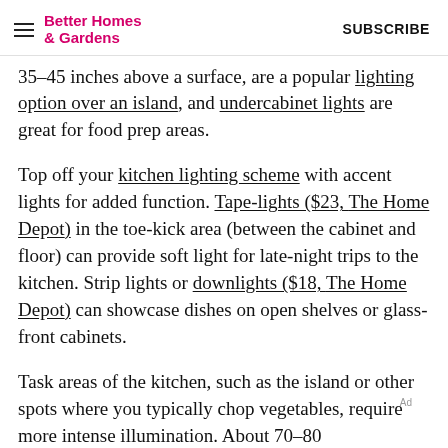Better Homes & Gardens   SUBSCRIBE
35–45 inches above a surface, are a popular lighting option over an island, and undercabinet lights are great for food prep areas.
Top off your kitchen lighting scheme with accent lights for added function. Tape-lights ($23, The Home Depot) in the toe-kick area (between the cabinet and floor) can provide soft light for late-night trips to the kitchen. Strip lights or downlights ($18, The Home Depot) can showcase dishes on open shelves or glass-front cabinets.
Task areas of the kitchen, such as the island or other spots where you typically chop vegetables, require more intense illumination. About 70–80